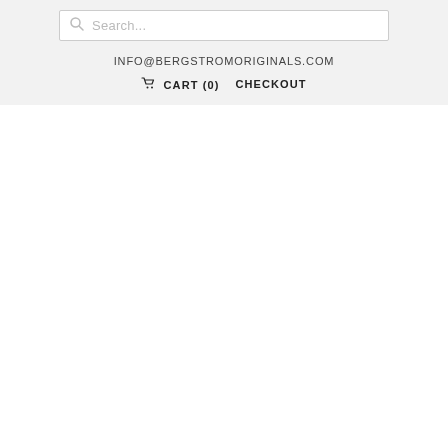Search...
INFO@BERGSTROMORIGINALS.COM
CART (0)   CHECKOUT
Bamboo High Waisted Capri Leggings
Sold Out